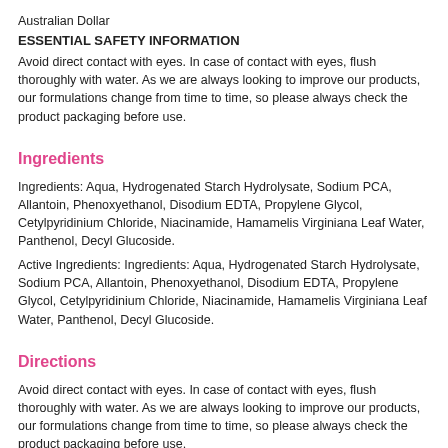Australian Dollar
ESSENTIAL SAFETY INFORMATION
Avoid direct contact with eyes. In case of contact with eyes, flush thoroughly with water. As we are always looking to improve our products, our formulations change from time to time, so please always check the product packaging before use.
Ingredients
Ingredients: Aqua, Hydrogenated Starch Hydrolysate, Sodium PCA, Allantoin, Phenoxyethanol, Disodium EDTA, Propylene Glycol, Cetylpyridinium Chloride, Niacinamide, Hamamelis Virginiana Leaf Water, Panthenol, Decyl Glucoside.
Active Ingredients: Ingredients: Aqua, Hydrogenated Starch Hydrolysate, Sodium PCA, Allantoin, Phenoxyethanol, Disodium EDTA, Propylene Glycol, Cetylpyridinium Chloride, Niacinamide, Hamamelis Virginiana Leaf Water, Panthenol, Decyl Glucoside.
Directions
Avoid direct contact with eyes. In case of contact with eyes, flush thoroughly with water. As we are always looking to improve our products, our formulations change from time to time, so please always check the product packaging before use.